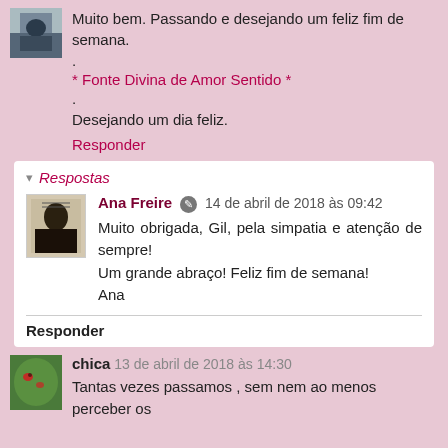Muito bem. Passando e desejando um feliz fim de semana.
.
* Fonte Divina de Amor Sentido *
.
Desejando um dia feliz.
Responder
Respostas
Ana Freire  14 de abril de 2018 às 09:42
Muito obrigada, Gil, pela simpatia e atenção de sempre!
Um grande abraço! Feliz fim de semana!
Ana
Responder
chica  13 de abril de 2018 às 14:30
Tantas vezes passamos , sem nem ao menos perceber os